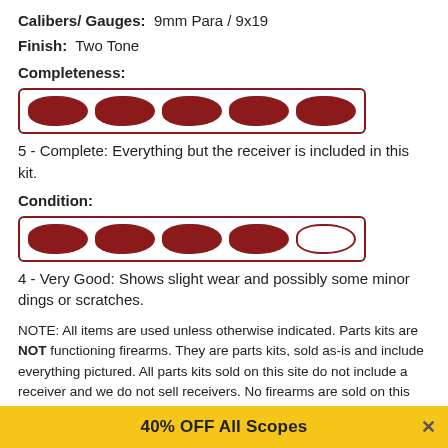Calibers/ Gauges: 9mm Para / 9x19
Finish: Two Tone
Completeness:
[Figure (infographic): Rating bar showing 5 filled dark red bullet/oval shapes inside a red-bordered box, indicating completeness rating of 5 out of 5.]
5 - Complete: Everything but the receiver is included in this kit.
Condition:
[Figure (infographic): Rating bar showing 4 filled dark red bullet/oval shapes and 1 empty/outline bullet shape inside a red-bordered box, indicating condition rating of 4 out of 5.]
4 - Very Good: Shows slight wear and possibly some minor dings or scratches.
NOTE: All items are used unless otherwise indicated. Parts kits are NOT functioning firearms. They are parts kits, sold as-is and include everything pictured. All parts kits sold on this site do not include a receiver and we do not sell receivers. No firearms are sold on this site. All ITAR rules in effect. Read more
Frequently Asked Questions
40% OFF All Scopes